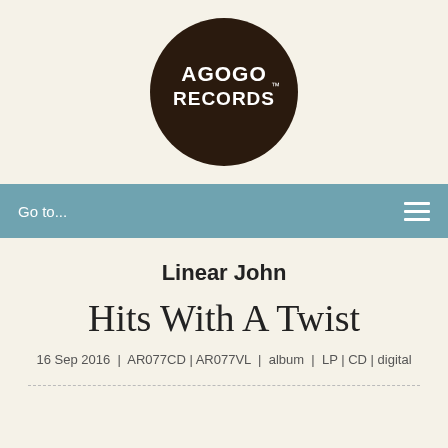[Figure (logo): Agogo Records logo — dark brown circle with white stylized text reading AGOGO RECORDS with trademark symbol]
Go to...
Linear John
Hits With A Twist
16 Sep 2016  |  AR077CD | AR077VL |  album  |  LP | CD | digital